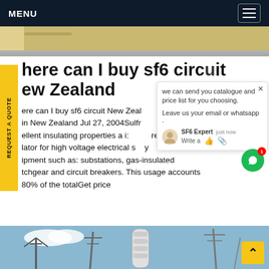MENU
[Figure (photo): Top portion of a photo showing electrical/industrial equipment with beige/gray tones]
here can I buy sf6 circuit breaker in New Zealand
here can I buy sf6 circuit New Zealand ... re ... in New Zealand Jul 27, 2004Sulfr ... e has ellent insulating properties a ... i: ... red lator for high voltage electrical s ... y ... ipment such as: substations, gas-insulated tchgear and circuit breakers. This usage accounts 80% of the totalGet price
[Figure (screenshot): Chat widget popup showing SF6 Expert saying 'we can send you catalogue and price list for you choosing. Leave us your email or whatsapp .' with a Write/thumbs up/attachment row]
[Figure (photo): Bottom photo showing electrical substation infrastructure including insulators, transmission lines and metal structures against blue sky]